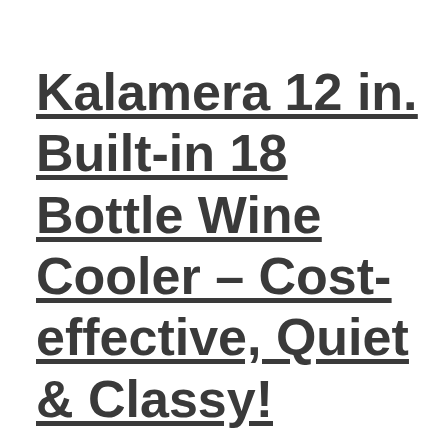Kalamera 12 in. Built-in 18 Bottle Wine Cooler – Cost-effective, Quiet & Classy!